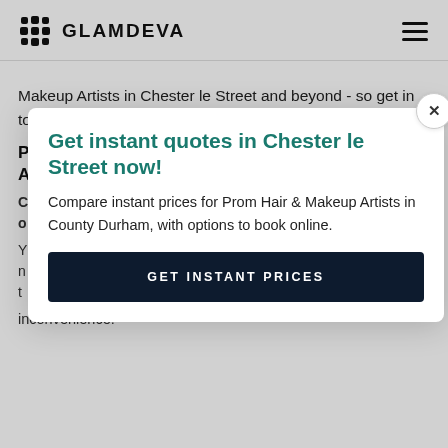GLAMDEVA
Makeup Artists in Chester le Street and beyond - so get in touch to find out more.
[Figure (infographic): Pop-up modal overlay on a website page for Glamdeva, showing 'Get instant quotes in Chester le Street now!' with a description and a 'GET INSTANT PRICES' button. A close (x) button is visible in the top-right corner of the modal.]
inconvenience.